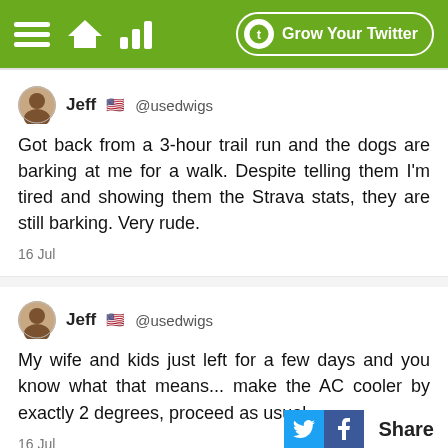Grow Your Twitter
Jeff 🇺🇸 @usedwigs
Got back from a 3-hour trail run and the dogs are barking at me for a walk. Despite telling them I'm tired and showing them the Strava stats, they are still barking. Very rude.
16 Jul
Jeff 🇺🇸 @usedwigs
My wife and kids just left for a few days and you know what that means... make the AC cooler by exactly 2 degrees, proceed as usual.
16 Jul